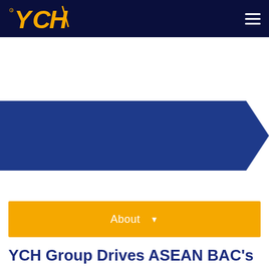YCH Logo | Navigation menu
[Figure (other): Blue pentagon/arrow-shaped decorative band across the page]
About ▾
YCH Group Drives ASEAN BAC's